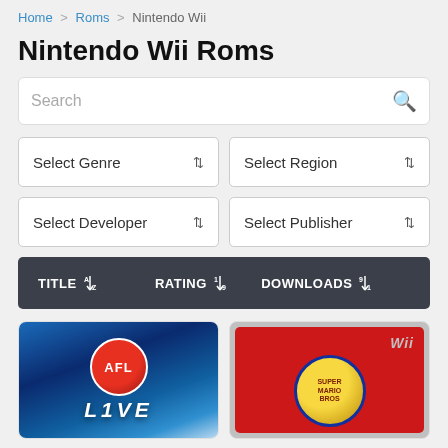Home > Roms > Nintendo Wii
Nintendo Wii Roms
Search
Select Genre
Select Region
Select Developer
Select Publisher
| TITLE | RATING | DOWNLOADS |
| --- | --- | --- |
[Figure (photo): AFL Live game cover art showing stadium lights and AFL logo with LIVE text]
[Figure (photo): Super Mario Bros Wii game cover with red background, Wii logo, and golden Mario character medallion]